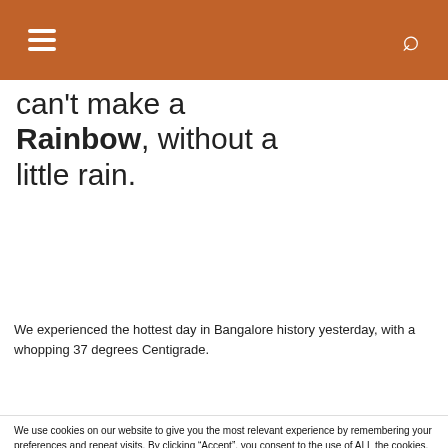Navigation bar with hamburger menu and search icon
can't make a Rainbow, without a little rain.
We experienced the hottest day in Bangalore history yesterday, with a whopping 37 degrees Centigrade.
We use cookies on our website to give you the most relevant experience by remembering your preferences and repeat visits. By clicking “Accept”, you consent to the use of ALL the cookies.
Do not sell my personal information.
Social share bar: Facebook, Twitter, LinkedIn, Pinterest